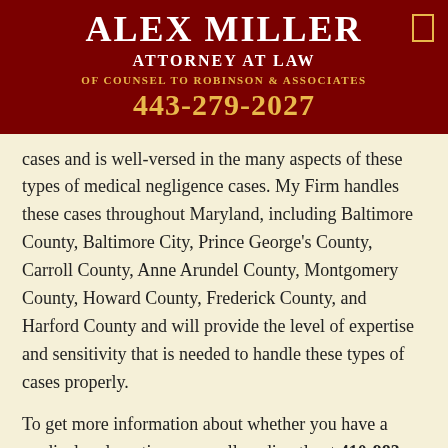ALEX MILLER ATTORNEY AT LAW OF COUNSEL TO ROBINSON & ASSOCIATES 443-279-2027
cases and is well-versed in the many aspects of these types of medical negligence cases. My Firm handles these cases throughout Maryland, including Baltimore County, Baltimore City, Prince George's County, Carroll County, Anne Arundel County, Montgomery County, Howard County, Frederick County, and Harford County and will provide the level of expertise and sensitivity that is needed to handle these types of cases properly.
To get more information about whether you have a medical malpractice case, call us directly at 410-983-3022, complete the Contact box on the left side of this page, or email us directly.
You can also protect your case by reading my Free Medical